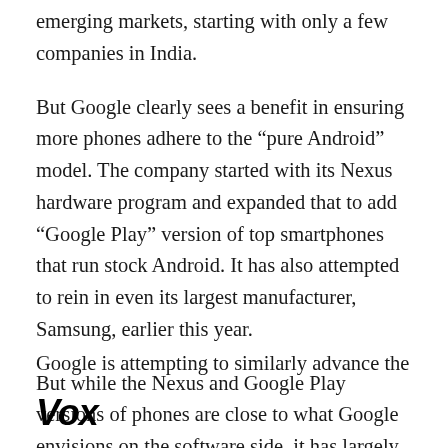emerging markets, starting with only a few companies in India.
But Google clearly sees a benefit in ensuring more phones adhere to the “pure Android” model. The company started with its Nexus hardware program and expanded that to add “Google Play” version of top smartphones that run stock Android. It has also attempted to rein in even its largest manufacturer, Samsung, earlier this year.
But while the Nexus and Google Play versions of phones are close to what Google envisions on the software side, it has largely been a niche play.
Google is attempting to similarly advance the
Vox